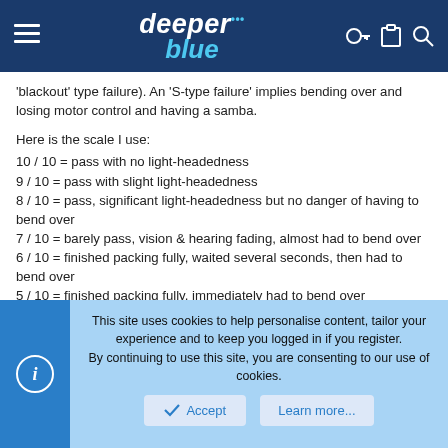deeper blue [logo with navigation icons]
'blackout' type failure). An 'S-type failure' implies bending over and losing motor control and having a samba.
Here is the scale I use:
10 / 10 = pass with no light-headedness
9 / 10 = pass with slight light-headedness
8 / 10 = pass, significant light-headedness but no danger of having to bend over
7 / 10 = barely pass, vision & hearing fading, almost had to bend over
6 / 10 = finished packing fully, waited several seconds, then had to bend over
5 / 10 = finished packing fully, immediately had to bend over
4 / 10 = half way through packing, had to bend over
3 / 10 = didn't even start packing, had to bend over
2 / 10 = could barely even stand up without fainting
This site uses cookies to help personalise content, tailor your experience and to keep you logged in if you register. By continuing to use this site, you are consenting to our use of cookies.